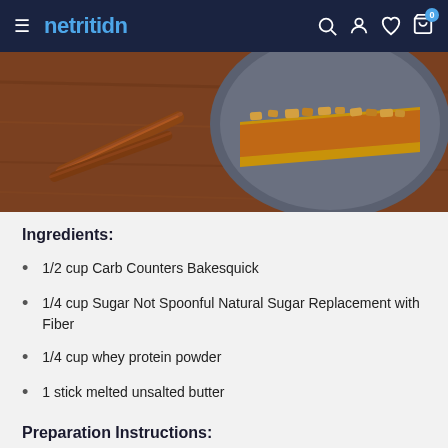netrition
[Figure (photo): Photo of a slice of apple crumble bar on a dark plate with cinnamon sticks on a brown wooden surface]
Ingredients:
1/2 cup Carb Counters Bakesquick
1/4 cup Sugar Not Spoonful Natural Sugar Replacement with Fiber
1/4 cup whey protein powder
1 stick melted unsalted butter
Preparation Instructions: